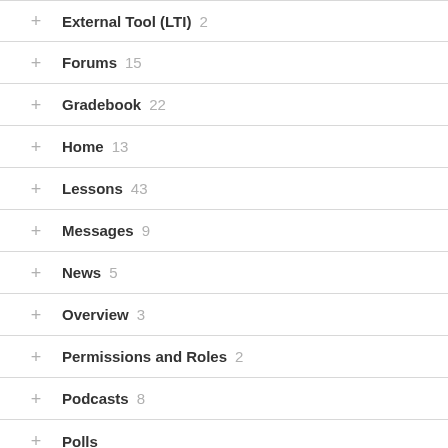External Tool (LTI) 2
Forums 15
Gradebook 22
Home 13
Lessons 43
Messages 9
News 5
Overview 3
Permissions and Roles 2
Podcasts 8
Polls ...